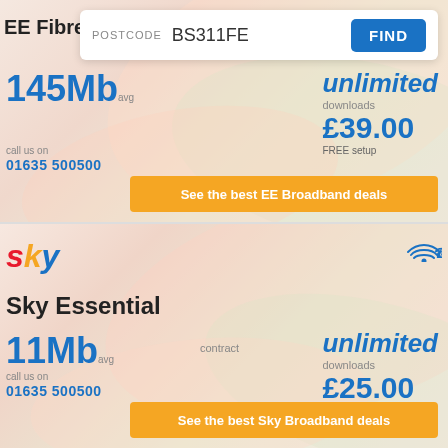[Figure (screenshot): EE Broadband deal section with postcode search bar showing BS311FE, 145Mb speed, unlimited downloads, £39.00 price, FREE setup, call us on 01635 500500, and orange CTA button]
POSTCODE BS311FE FIND
EE Fibre
145Mb avg
unlimited downloads
£39.00
FREE setup
call us on 01635 500500
See the best EE Broadband deals
[Figure (screenshot): Sky Broadband deal section with Sky logo, wifi and phone icons, Sky Essential product, 11Mb speed, contract, unlimited downloads, £25.00 price, £9.95 setup, call us on 01635 500500, and orange CTA button]
sky
Sky Essential
11Mb avg
contract
unlimited downloads
£25.00
£9.95 setup
call us on 01635 500500
See the best Sky Broadband deals